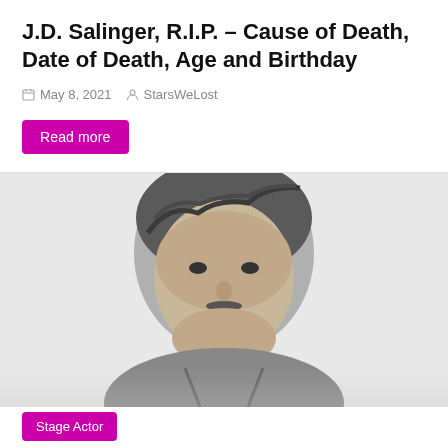J.D. Salinger, R.I.P. – Cause of Death, Date of Death, Age and Birthday
May 8, 2021   StarsWeLost
Read more
[Figure (photo): Black and white portrait photo of a smiling man with wavy hair and a mustache, wearing a jacket]
Stage Actor